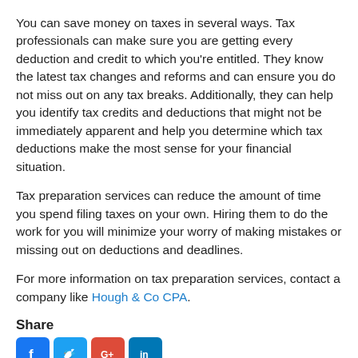You can save money on taxes in several ways. Tax professionals can make sure you are getting every deduction and credit to which you're entitled. They know the latest tax changes and reforms and can ensure you do not miss out on any tax breaks. Additionally, they can help you identify tax credits and deductions that might not be immediately apparent and help you determine which tax deductions make the most sense for your financial situation.
Tax preparation services can reduce the amount of time you spend filing taxes on your own. Hiring them to do the work for you will minimize your worry of making mistakes or missing out on deductions and deadlines.
For more information on tax preparation services, contact a company like Hough & Co CPA.
Share
[Figure (infographic): Social media share icons: Facebook (blue), Twitter (blue), Google+ (red), LinkedIn (blue)]
2022© What's Your Number? An Accounting Blog